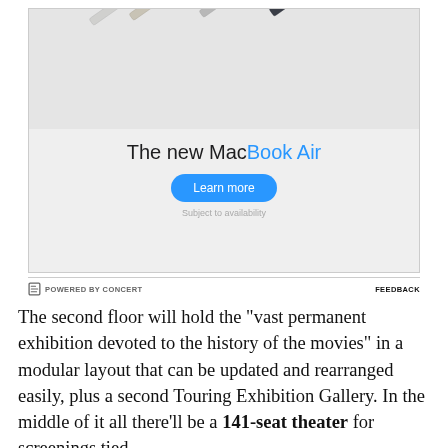[Figure (illustration): Apple MacBook Air advertisement showing multiple MacBook Air laptops in different colors (silver, starlight, midnight) arranged diagonally, with headline 'The new MacBook Air', a 'Learn more' button, and 'Subject to availability' note.]
POWERED BY CONCERT   FEEDBACK
The second floor will hold the "vast permanent exhibition devoted to the history of the movies" in a modular layout that can be updated and rearranged easily, plus a second Touring Exhibition Gallery. In the middle of it all there'll be a 141-seat theater for screenings tied